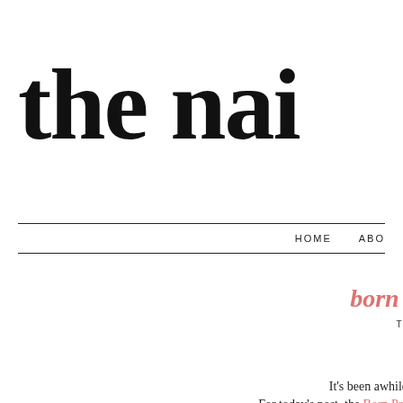the nai
HOME   ABO
born pretty store b
THURSDAY, NOVEMBE
*items in this post were pr
Hi!!
It's been awhile, but now I'm on Thanksgi
For today's post, the Born Pretty Store was kind enough